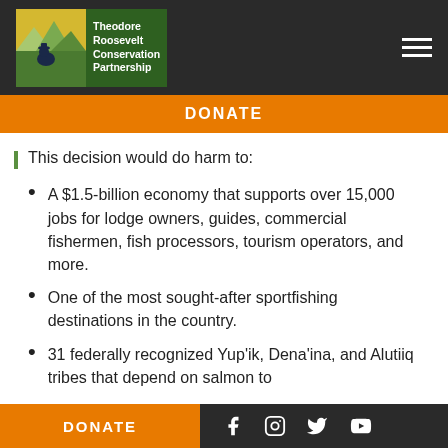[Figure (logo): Theodore Roosevelt Conservation Partnership logo with mountain/nature illustration and green background]
DONATE
This decision would do harm to:
A $1.5-billion economy that supports over 15,000 jobs for lodge owners, guides, commercial fishermen, fish processors, tourism operators, and more.
One of the most sought-after sportfishing destinations in the country.
31 federally recognized Yup'ik, Dena'ina, and Alutiiq tribes that depend on salmon to
DONATE